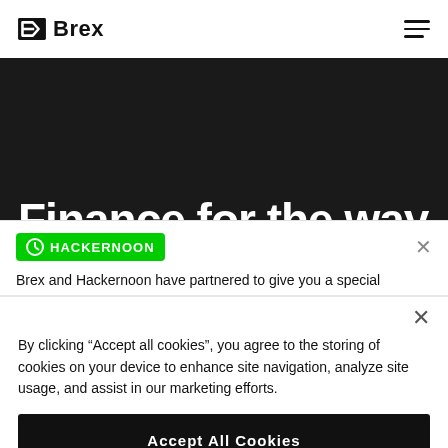[Figure (logo): Brex logo with icon and text]
Finance for the way
[Figure (screenshot): HackerNoon partnership popup banner with green badge and close button]
Brex and Hackernoon have partnered to give you a special
By clicking “Accept all cookies”, you agree to the storing of cookies on your device to enhance site navigation, analyze site usage, and assist in our marketing efforts.
Accept All Cookies
Cookies settings